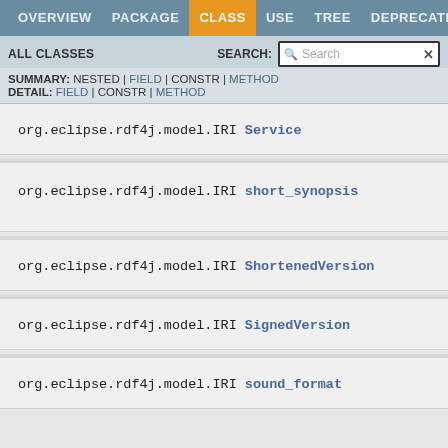OVERVIEW | PACKAGE | CLASS | USE | TREE | DEPRECATED
ALL CLASSES   SEARCH:
SUMMARY: NESTED | FIELD | CONSTR | METHOD
DETAIL: FIELD | CONSTR | METHOD
org.eclipse.rdf4j.model.IRI Service
org.eclipse.rdf4j.model.IRI short_synopsis
org.eclipse.rdf4j.model.IRI ShortenedVersion
org.eclipse.rdf4j.model.IRI SignedVersion
org.eclipse.rdf4j.model.IRI sound_format